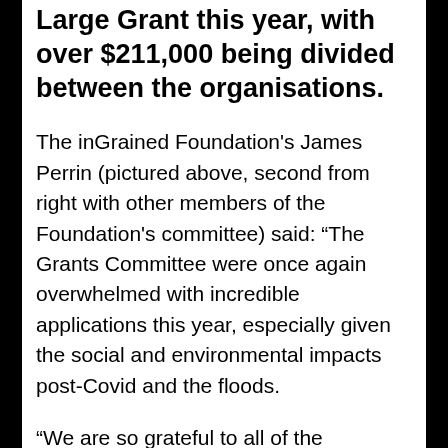Large Grant this year, with over $211,000 being divided between the organisations.
The inGrained Foundation's James Perrin (pictured above, second from right with other members of the Foundation's committee) said: “The Grants Committee were once again overwhelmed with incredible applications this year, especially given the social and environmental impacts post-Covid and the floods.
“We are so grateful to all of the community groups giving their heart and soul to our region. Congratulations to the successful recipients, and we look forward to continuing